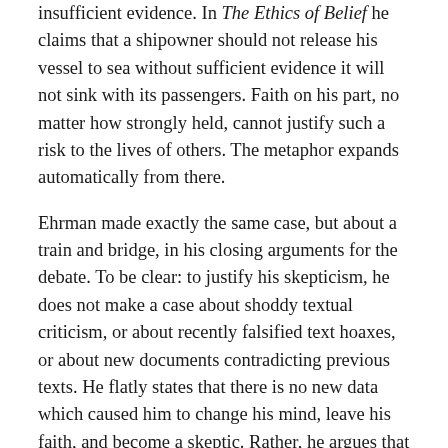insufficient evidence. In The Ethics of Belief he claims that a shipowner should not release his vessel to sea without sufficient evidence it will not sink with its passengers. Faith on his part, no matter how strongly held, cannot justify such a risk to the lives of others. The metaphor expands automatically from there.
Ehrman made exactly the same case, but about a train and bridge, in his closing arguments for the debate. To be clear: to justify his skepticism, he does not make a case about shoddy textual criticism, or about recently falsified text hoaxes, or about new documents contradicting previous texts. He flatly states that there is no new data which caused him to change his mind, leave his faith, and become a skeptic. Rather, he argues that the gap between the first documents which actually exist and the presumed original manuscripts (which no one has) is unknowable. It is impossible, he asserts, to know how accurately or inaccurately the current texts relate to the unknown originals. His approach is the traditional (Clifford-like) skeptic approach. There is no new data; the concern